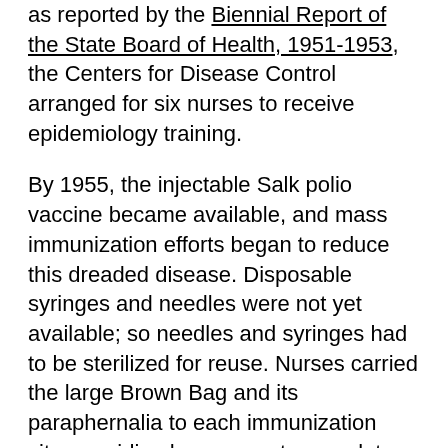as reported by the Biennial Report of the State Board of Health, 1951-1953, the Centers for Disease Control arranged for six nurses to receive epidemiology training.
By 1955, the injectable Salk polio vaccine became available, and mass immunization efforts began to reduce this dreaded disease. Disposable syringes and needles were not yet available; so needles and syringes had to be sterilized for reuse. Nurses carried the large Brown Bag and its paraphernalia to each immunization site, providing her means to complete her mission. Gratefully, another predicted epidemic did not occur. Salk vaccine and Herculean efforts to reach every child paid off!
Tuberculosis remained a major health threat during this period. By the early 1950's, streptomycin, para-aminosalicylic acid, and isoniazid provided effective treatment. Active tuberculosis cases, often sent away from home to the Sanatorium, could now be treated at home under the care of public health nurses. Mobile x-ray units had